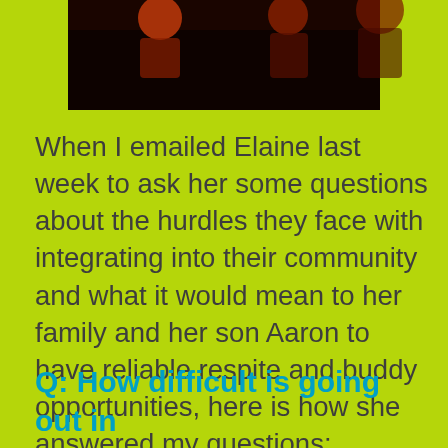[Figure (photo): Dark photo of people at the top of the page, partially cropped]
When I emailed Elaine last week to ask her some questions about the hurdles they face with integrating into their community and what it would mean to her family and her son Aaron to have reliable respite and buddy opportunities, here is how she answered my questions:
Q: How difficult is going out in